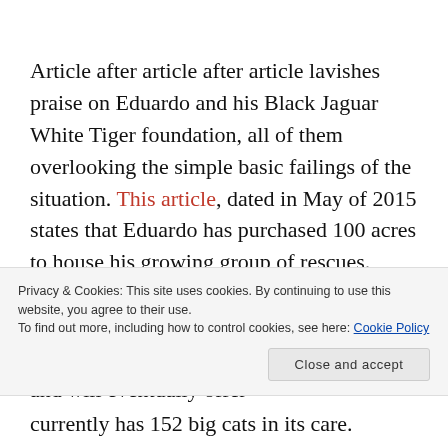Article after article after article lavishes praise on Eduardo and his Black Jaguar White Tiger foundation, all of them overlooking the simple basic failings of the situation. This article, dated in May of 2015 states that Eduardo has purchased 100 acres to house his growing group of rescues. However, this article, dated October of 2015 states that ‘Stage 3’ of Eduardo’s ‘rehabilitation program’ is ‘in the making’ and will eventually offer ‘the space for animals’. This same article lists currently has 152 big cats in its care.
Privacy & Cookies: This site uses cookies. By continuing to use this website, you agree to their use. To find out more, including how to control cookies, see here: Cookie Policy